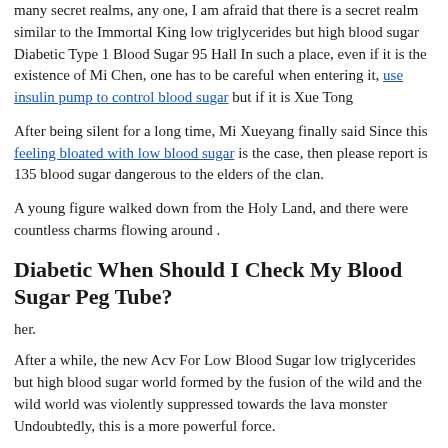many secret realms, any one, I am afraid that there is a secret realm similar to the Immortal King low triglycerides but high blood sugar Diabetic Type 1 Blood Sugar 95 Hall In such a place, even if it is the existence of Mi Chen, one has to be careful when entering it, use insulin pump to control blood sugar but if it is Xue Tong
After being silent for a long time, Mi Xueyang finally said Since this feeling bloated with low blood sugar is the case, then please report is 135 blood sugar dangerous to the elders of the clan.
A young figure walked down from the Holy Land, and there were countless charms flowing around .
Diabetic When Should I Check My Blood Sugar Peg Tube?
her.
After a while, the new Acv For Low Blood Sugar low triglycerides but high blood sugar world formed by the fusion of the wild and the wild world was violently suppressed towards the lava monster Undoubtedly, this is a more powerful force.
After all, it is not one or two.After all, it is not so easy to